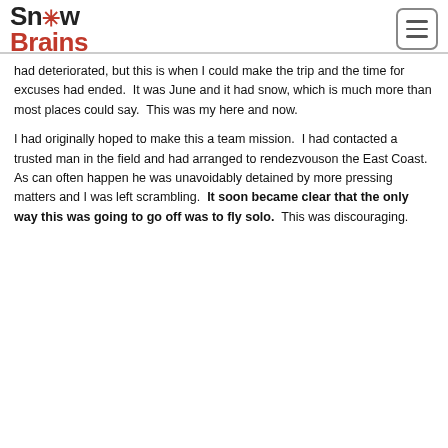Snow Brains
had deteriorated, but this is when I could make the trip and the time for excuses had ended.  It was June and it had snow, which is much more than most places could say.  This was my here and now.
I had originally hoped to make this a team mission.  I had contacted a trusted man in the field and had arranged to rendezvouson the East Coast.  As can often happen he was unavoidably detained by more pressing matters and I was left scrambling.  It soon became clear that the only way this was going to go off was to fly solo.  This was discouraging.